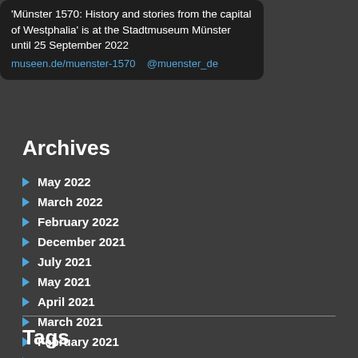[Figure (screenshot): Tweet/social media post snippet showing text about 'Münster 1570: History and stories from the capital of Westphalia' exhibition at Stadtmuseum Münster until 25 September 2022, with link museen.de/muenster-1570 and handle @muenster_de]
Archives
May 2022
March 2022
February 2022
December 2021
July 2021
May 2021
April 2021
March 2021
February 2021
January 2021
More...
Tags